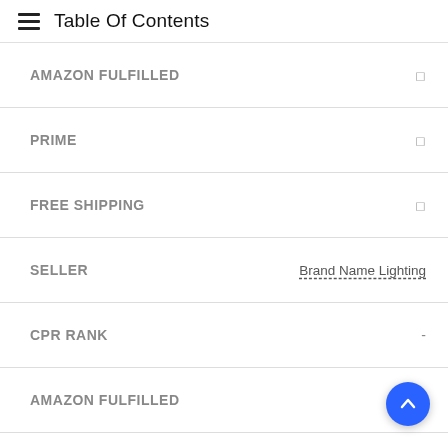Table Of Contents
AMAZON FULFILLED
PRIME
FREE SHIPPING
SELLER  Brand Name Lighting
CPR RANK  -
AMAZON FULFILLED
PRIME
FREE SHIPPING